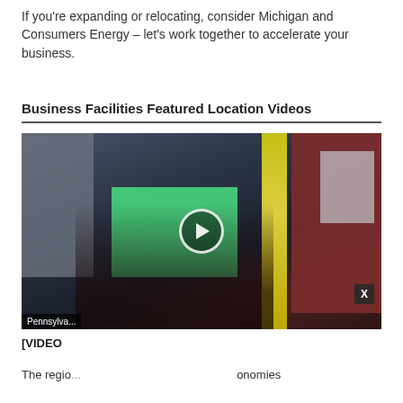If you're expanding or relocating, consider Michigan and Consumers Energy – let's work together to accelerate your business.
Business Facilities Featured Location Videos
[Figure (screenshot): Video thumbnail showing a street scene with people, colorful storefronts including a green Crayola store, brick buildings, a yellow decorative column, and a play button overlay. A HudsonAlpha Institute for Biotechnology advertisement overlay appears at the bottom right with green hexagonal pattern background and text 'YOUR LIFE SCIENCES BUSINESS LOCATION' with a Learn More button.]
[VIDEO]
The regio... onomies